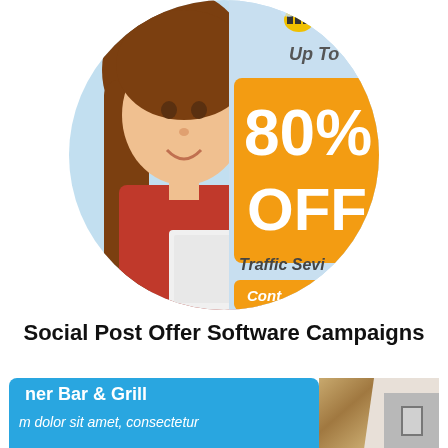[Figure (illustration): Circular clipped image showing a smiling woman in a red shirt sitting at a laptop on the left, and a promotional advertisement on the right with a bee logo, 'Loca' branding, 'Up To', '80% OFF', 'Traffic Sevi...' and 'Cont...' orange button on a light blue background]
Social Post Offer Software Campaigns
[Figure (illustration): Partial bottom image showing a blue panel with 'ner Bar & Grill' header text and 'Lorem dolor sit amet, consectetur' text, next to a wooden element and a grey box with an icon]